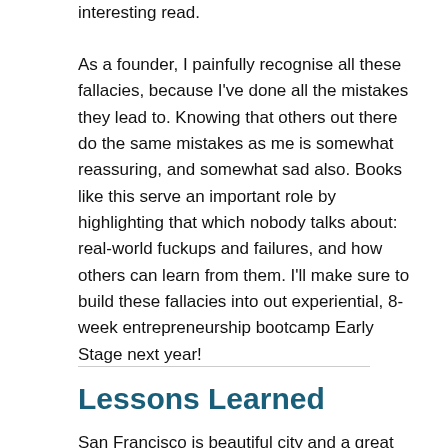interesting read.
As a founder, I painfully recognise all these fallacies, because I've done all the mistakes they lead to. Knowing that others out there do the same mistakes as me is somewhat reassuring, and somewhat sad also. Books like this serve an important role by highlighting that which nobody talks about: real-world fuckups and failures, and how others can learn from them. I'll make sure to build these fallacies into out experiential, 8-week entrepreneurship bootcamp Early Stage next year!
Lessons Learned
San Francisco is beautiful city and a great place to